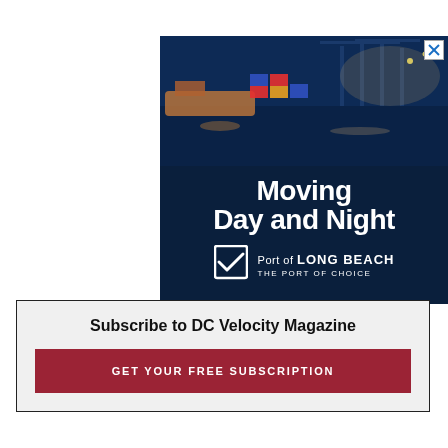[Figure (photo): Advertisement for Port of Long Beach showing aerial night photo of the port with shipping containers and cranes, overlaid with large white text 'Moving Day and Night' and the Port of Long Beach logo with tagline 'THE PORT OF CHOICE'. A close/X button appears in the top-right corner.]
Subscribe to DC Velocity Magazine
GET YOUR FREE SUBSCRIPTION